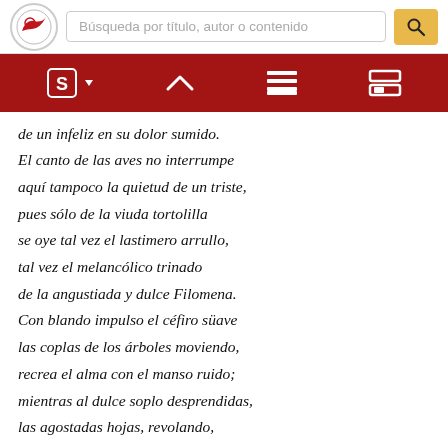Búsqueda por título, autor o contenido
de un infeliz en su dolor sumido.
El canto de las aves no interrumpe
aquí tampoco la quietud de un triste,
pues sólo de la viuda tortolilla
se oye tal vez el lastimero arrullo,
tal vez el melancólico trinado
de la angustiada y dulce Filomena.
Con blando impulso el céfiro süave
las coplas de los árboles moviendo,
recrea el alma con el manso ruido;
mientras al dulce soplo desprendidas,
las agostadas hojas, revolando,
bajan en lentos círculos al suelo;
cúbrenle en torno, y la frondosa pompa